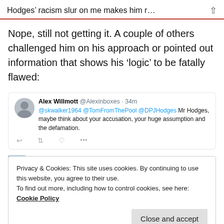Hodges’ racism slur on me makes him r…
Nope, still not getting it. A couple of others challenged him on his approach or pointed out information that shows his ‘logic’ to be fatally flawed:
[Figure (screenshot): Tweet from Alex Willmott (@Alexinboxes) 34m: @skwalker1964 @TomFromThePool @DPJHodges Mr Hodges, maybe think about your accusation, your huge assumption and the defamation.]
[Figure (screenshot): Tweet from Seth Edenbaum (@ComradeVeidt) 2h: .@DPJHodges @skwalker1964]
Privacy & Cookies: This site uses cookies. By continuing to use this website, you agree to their use.
To find out more, including how to control cookies, see here: Cookie Policy
But Hodges essentially stuck his fingers in his ears